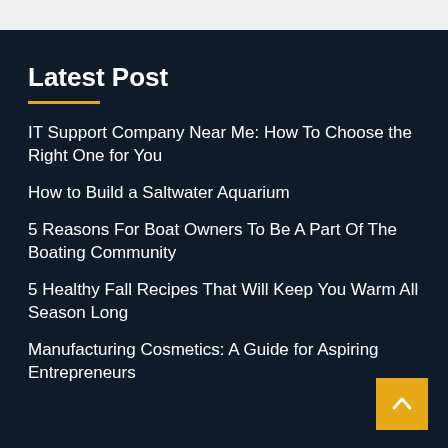Latest Post
IT Support Company Near Me: How To Choose the Right One for You
How to Build a Saltwater Aquarium
5 Reasons For Boat Owners To Be A Part Of The Boating Community
5 Healthy Fall Recipes That Will Keep You Warm All Season Long
Manufacturing Cosmetics: A Guide for Aspiring Entrepreneurs